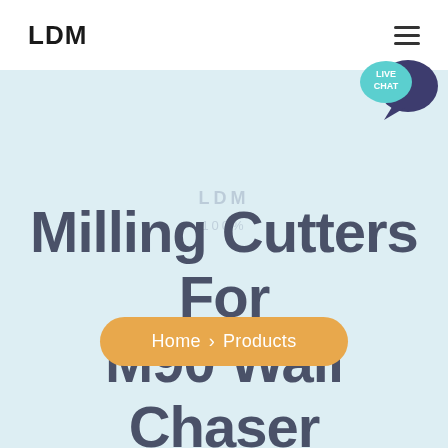LDM
[Figure (logo): LDM company logo in bold black text on white navbar, with hamburger menu icon on the right]
[Figure (illustration): Live Chat speech bubble icon in teal/cyan and dark navy blue]
Milling Cutters For M90 Wall Chaser
Home > Products